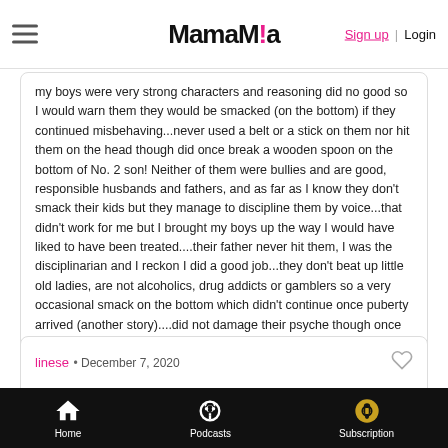MamaMia - Sign up | Login
my boys were very strong characters and reasoning did no good so I would warn them they would be smacked (on the bottom) if they continued misbehaving...never used a belt or a stick on them nor hit them on the head though did once break a wooden spoon on the bottom of No. 2 son!  Neither of them were bullies and are good, responsible husbands and fathers, and as far as I know they don't smack their kids but they manage to discipline them by voice...that didn't work for me but I brought my boys up the way I would have liked to have been treated....their father never hit them, I was the disciplinarian  and I reckon I did a good job...they don't beat up little old ladies, are not alcoholics, drug addicts or gamblers so a very occasional smack on the bottom which didn't continue once puberty arrived (another story)....did not damage their psyche though once the testostorone kicked in.....!!!
linese • December 7, 2020
It must be obvious to anyone paying attention, that PM MOrrison
Home | Podcasts | Subscription